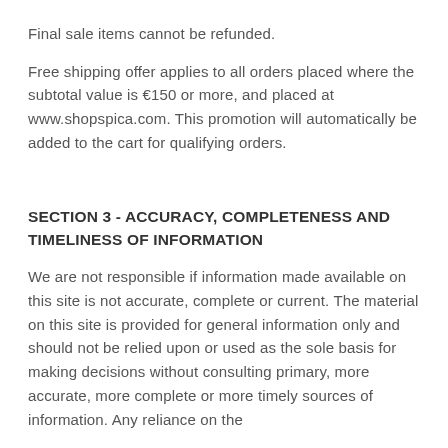Final sale items cannot be refunded.
Free shipping offer applies to all orders placed where the subtotal value is €150 or more, and placed at www.shopspica.com. This promotion will automatically be added to the cart for qualifying orders.
SECTION 3 - ACCURACY, COMPLETENESS AND TIMELINESS OF INFORMATION
We are not responsible if information made available on this site is not accurate, complete or current. The material on this site is provided for general information only and should not be relied upon or used as the sole basis for making decisions without consulting primary, more accurate, more complete or more timely sources of information. Any reliance on the